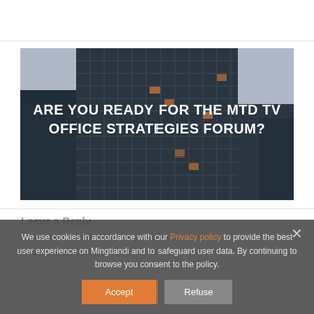[Figure (photo): Photo of a glass office tower/building facade at dusk/night with text overlay reading 'ARE YOU READY FOR THE MTD TV OFFICE STRATEGIES FORUM?']
We use cookies in accordance with our Privacy policy to provide the best user experience on Mingtiandi and to safeguard user data. By continuing to browse you consent to the policy.
Leave a Reply
Your email address will not be published.
Required fields are marked *